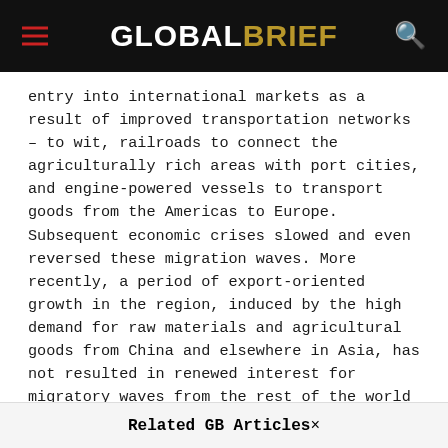GLOBALBRIEF
entry into international markets as a result of improved transportation networks – to wit, railroads to connect the agriculturally rich areas with port cities, and engine-powered vessels to transport goods from the Americas to Europe. Subsequent economic crises slowed and even reversed these migration waves. More recently, a period of export-oriented growth in the region, induced by the high demand for raw materials and agricultural goods from China and elsewhere in Asia, has not resulted in renewed interest for migratory waves from the rest of the world to Latin America. But within Latin America proper, people are increasingly mobile and migratory waves are increasing.
Related GB Articles